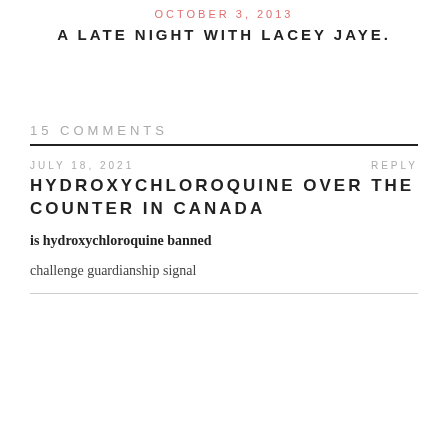OCTOBER 3, 2013
A LATE NIGHT WITH LACEY JAYE.
15 COMMENTS
JULY 18, 2021
REPLY
HYDROXYCHLOROQUINE OVER THE COUNTER IN CANADA
is hydroxychloroquine banned
challenge guardianship signal